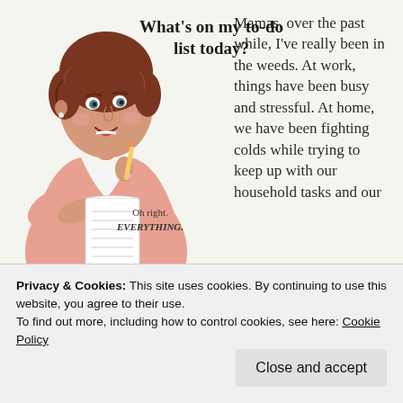[Figure (illustration): Retro vintage illustration of a 1950s housewife in a pink blouse holding a pencil and a long to-do list, looking upward thoughtfully. Black and white list curls out. Illustration styled like mid-century clip art.]
What's on my to-do list today?
Oh right. EVERYTHING.
Mamas, over the past while, I've really been in the weeds. At work, things have been busy and stressful. At home, we have been fighting colds while trying to keep up with our household tasks and our
Privacy & Cookies: This site uses cookies. By continuing to use this website, you agree to their use.
To find out more, including how to control cookies, see here: Cookie Policy
Close and accept